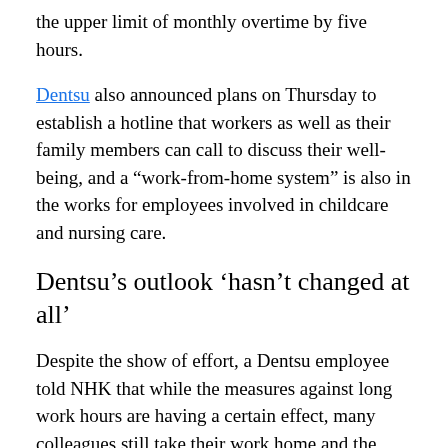the upper limit of monthly overtime by five hours.
Dentsu also announced plans on Thursday to establish a hotline that workers as well as their family members can call to discuss their well-being, and a “work-from-home system” is also in the works for employees involved in childcare and nursing care.
Dentsu’s outlook ‘hasn’t changed at all’
Despite the show of effort, a Dentsu employee told NHK that while the measures against long work hours are having a certain effect, many colleagues still take their work home and the company’s outlook remains unchanged.
“There are far less cases of unreasonably long work hours being forced on workers, like being forced to do late nights after being told ‘finish this by tomorrow,’